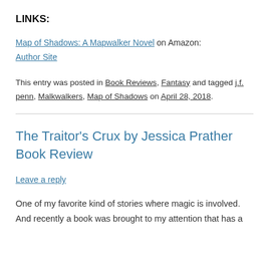LINKS:
Map of Shadows: A Mapwalker Novel on Amazon:
Author Site
This entry was posted in Book Reviews, Fantasy and tagged j.f. penn, Malkwalkers, Map of Shadows on April 28, 2018.
The Traitor’s Crux by Jessica Prather Book Review
Leave a reply
One of my favorite kind of stories where magic is involved. And recently a book was brought to my attention that has a